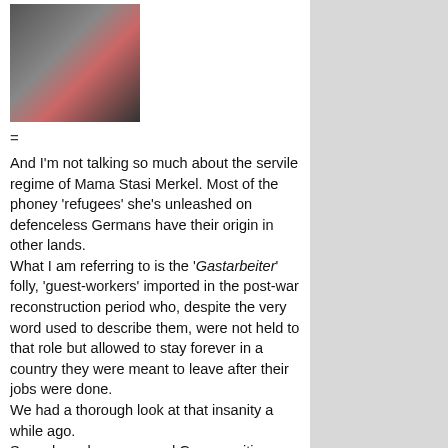[Figure (photo): Close-up photo of a woman (Angela Merkel) with a serious expression, wearing dark clothing with a red element visible.]
=
And I'm not talking so much about the servile regime of Mama Stasi Merkel. Most of the phoney 'refugees' she's unleashed on defenceless Germans have their origin in other lands.
What I am referring to is the 'Gastarbeiter' folly, 'guest-workers' imported in the post-war reconstruction period who, despite the very word used to describe them, were not held to that role but allowed to stay forever in a country they were meant to leave after their jobs were done.
We had a thorough look at that insanity a while ago.
Some have become good German citizens – I've met such folk.
But others, many, many others, have behaved with